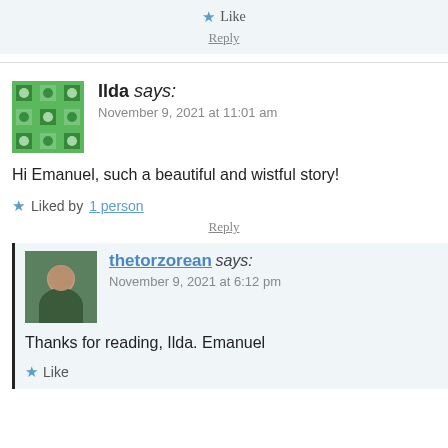★ Like
Reply
Ilda says: November 9, 2021 at 11:01 am
Hi Emanuel, such a beautiful and wistful story!
★ Liked by 1 person
Reply
thetorzorean says: November 9, 2021 at 6:12 pm
Thanks for reading, Ilda. Emanuel
★ Like